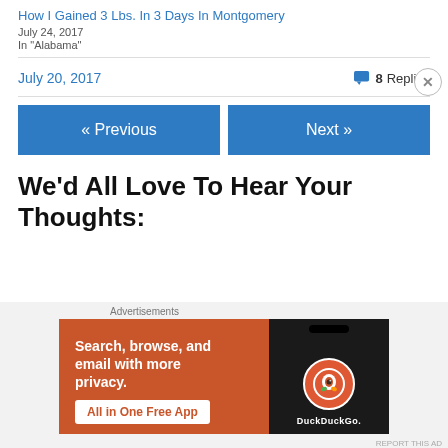How I Gained 3 Lbs. In 3 Days In Montgomery
July 24, 2017
In "Alabama"
July 20, 2017
8 Replies
« Previous
Next »
We'd All Love To Hear Your Thoughts:
Advertisements
[Figure (screenshot): DuckDuckGo advertisement banner: orange background with white text 'Search, browse, and email with more privacy. All in One Free App' with DuckDuckGo logo on dark phone mockup on right side.]